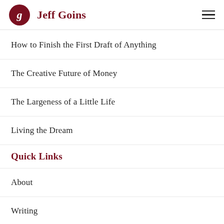Jeff Goins
How to Finish the First Draft of Anything
The Creative Future of Money
The Largeness of a Little Life
Living the Dream
Quick Links
About
Writing
Updates